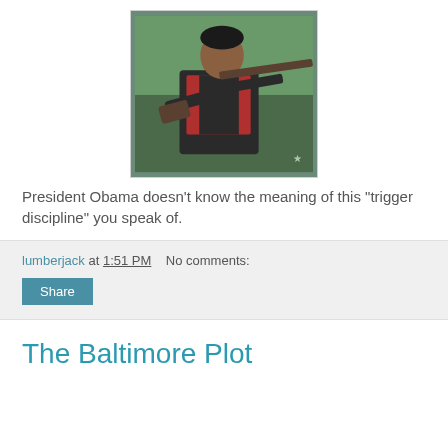[Figure (photo): Photo of a person holding a rifle/shotgun outdoors, wearing a red and black vest]
President Obama doesn't know the meaning of this "trigger discipline" you speak of.
lumberjack at 1:51 PM   No comments:
Share
The Baltimore Plot